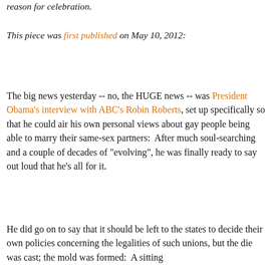reason for celebration.
This piece was first published on May 10, 2012:
The big news yesterday -- no, the HUGE news -- was President Obama's interview with ABC's Robin Roberts, set up specifically so that he could air his own personal views about gay people being able to marry their same-sex partners:  After much soul-searching and a couple of decades of "evolving", he was finally ready to say out loud that he's all for it.
He did go on to say that it should be left to the states to decide their own policies concerning the legalities of such unions, but the die was cast; the mold was formed:  A sitting